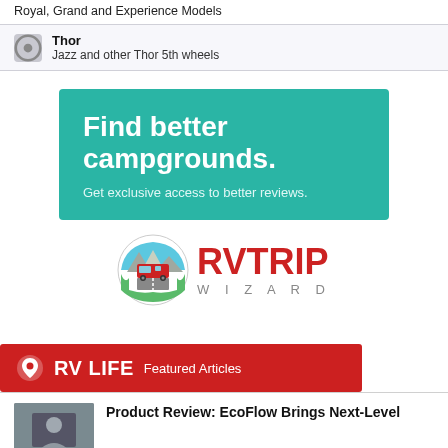Royal, Grand and Experience Models
Thor — Jazz and other Thor 5th wheels
[Figure (infographic): Teal/green advertisement banner: 'Find better campgrounds. Get exclusive access to better reviews.']
[Figure (logo): RVTRIP WIZARD logo with circular icon of red RV on road with mountains]
[Figure (infographic): Red RV LIFE banner with map pin icon, text 'RV LIFE Featured Articles']
Product Review: EcoFlow Brings Next-Level